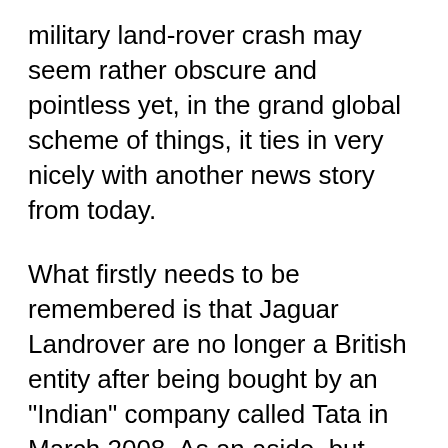military land-rover crash may seem rather obscure and pointless yet, in the grand global scheme of things, it ties in very nicely with another news story from today.
What firstly needs to be remembered is that Jaguar Landrover are no longer a British entity after being bought by an "Indian" company called Tata in March 2008. As an aside, but cute, synchronicity, Jaguar were originally called the Swallow Sidecar Company and founded by a Mr. William Lyons in 1922. The policeman who filmed the big cat as noted in my post from last Tuesday, Cats out the bag, was called Chris Swallow.
On that theme - a swallow (or swallie) being a